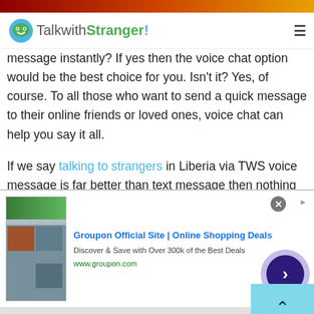TalkwithStranger!
message instantly? If yes then the voice chat option would be the best choice for you. Isn't it? Yes, of course. To all those who want to send a quick message to their online friends or loved ones, voice chat can help you say it all.
If we say talking to strangers in Liberia via TWS voice message is far better than text message then nothing is wrong about that. The growing popularity of using voice chat or message is ease of use and convenience. Instead of writing long texts people
[Figure (screenshot): Groupon advertisement banner with image thumbnails and text: Groupon Official Site | Online Shopping Deals. Discover & Save with Over 300k of the Best Deals. www.groupon.com]